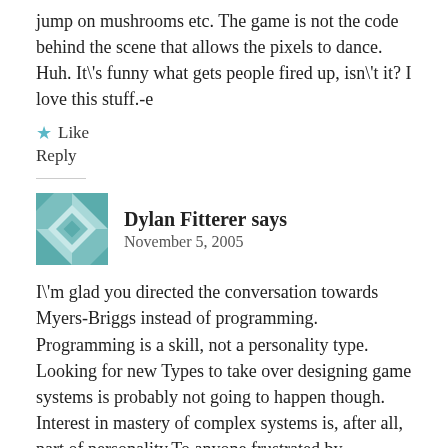jump on mushrooms etc. The game is not the code behind the scene that allows the pixels to dance. Huh. It\'s funny what gets people fired up, isn\'t it? I love this stuff.-e
★ Like
Reply
Dylan Fitterer says
November 5, 2005
I\'m glad you directed the conversation towards Myers-Briggs instead of programming. Programming is a skill, not a personality type. Looking for new Types to take over designing game systems is probably not going to happen though. Interest in mastery of complex systems is, after all, part of personality.To anyone frustrated by programming I recommend trying a spatial programming tool such as Quest3D,